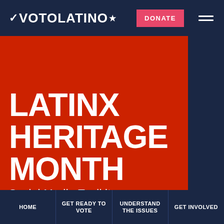VOTO LATINO★
LATINX HERITAGE MONTH
Social Media Toolkit
[Figure (photo): Red background with diverse young people's faces (tops of heads/foreheads visible) beneath large white text. Website header for Voto Latino Latinx Heritage Month Social Media Toolkit page.]
HOME | GET READY TO VOTE | UNDERSTAND THE ISSUES | GET INVOLVED